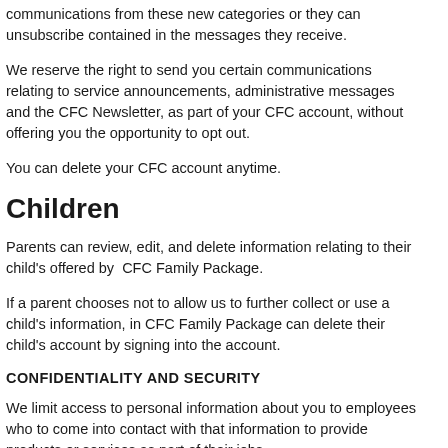communications from these new categories or they can unsubscribe contained in the messages they receive.
We reserve the right to send you certain communications relating to service announcements, administrative messages and the CFC Newsletter, as part of your CFC account, without offering you the opportunity to opt out.
You can delete your CFC account anytime.
Children
Parents can review, edit, and delete information relating to their child's offered by CFC Family Package.
If a parent chooses not to allow us to further collect or use a child's information, in CFC Family Package can delete their child's account by signing into the account.
CONFIDENTIALITY AND SECURITY
We limit access to personal information about you to employees who to come into contact with that information to provide products or services as part of their jobs.